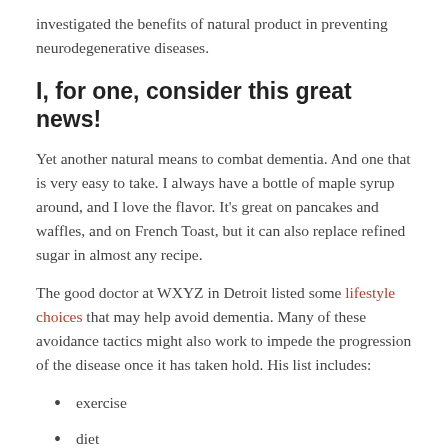investigated the benefits of natural product in preventing neurodegenerative diseases.
I, for one, consider this great news!
Yet another natural means to combat dementia. And one that is very easy to take. I always have a bottle of maple syrup around, and I love the flavor. It's great on pancakes and waffles, and on French Toast, but it can also replace refined sugar in almost any recipe.
The good doctor at WXYZ in Detroit listed some lifestyle choices that may help avoid dementia. Many of these avoidance tactics might also work to impede the progression of the disease once it has taken hold. His list includes:
exercise
diet
cognitive stimulation
quality sleep